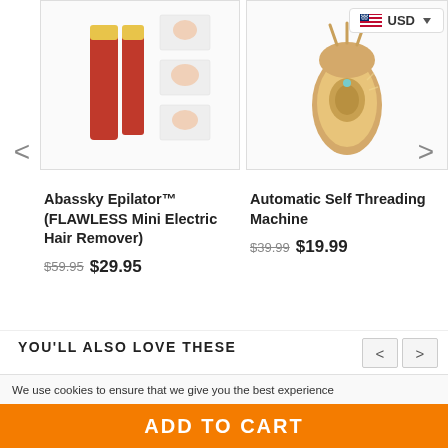[Figure (screenshot): E-commerce product carousel showing two hair removal products: Abassky Epilator and Automatic Self Threading Machine, with navigation arrows and USD currency badge]
Abassky Epilator™ (FLAWLESS Mini Electric Hair Remover)
$59.95 $29.95
Automatic Self Threading Machine
$39.99 $19.99
YOU'LL ALSO LOVE THESE
[Figure (screenshot): Product thumbnails with SAVE $32 and SAVE $30 badges]
We use cookies to ensure that we give you the best experience
ADD TO CART